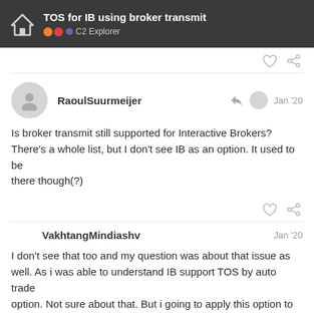TOS for IB using broker transmit — C2 Explorer
RaoulSuurmeijer  Jan '20
Is broker transmit still supported for Interactive Brokers? There's a whole list, but I don't see IB as an option. It used to be there though(?)
VakhtangMindiashv  Jan '20
I don't see that too and my question was about that issue as well. As i was able to understand IB support TOS by auto trade option. Not sure about that. But i going to apply this option to